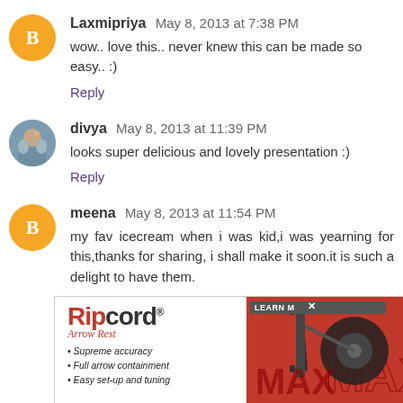Laxmipriya May 8, 2013 at 7:38 PM
wow.. love this.. never knew this can be made so easy.. :)
Reply
divya May 8, 2013 at 11:39 PM
looks super delicious and lovely presentation :)
Reply
meena May 8, 2013 at 11:54 PM
my fav icecream when i was kid,i was yearning for this,thanks for sharing, i shall make it soon.it is such a delight to have them.
[Figure (other): Ripcord Arrow Rest advertisement banner with logo, bullets listing Supreme accuracy, Full arrow containment, Easy set-up and tuning, and product image on red background with MAX branding]